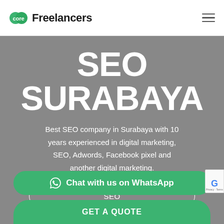core Freelancers
SEO SURABAYA
Best SEO company in Surabaya with 10 years experienced in digital marketing, SEO, Adwords, Facebook pixel and another digital marketing.
SEO
Chat with us on WhatsApp
GET A QUOTE